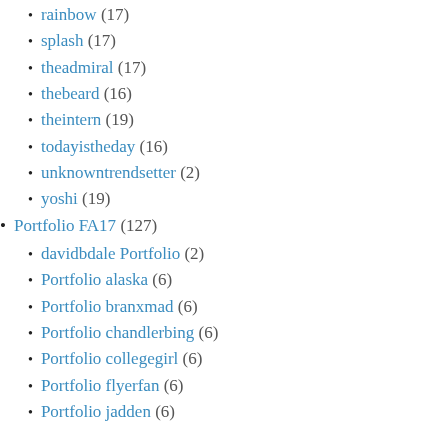rainbow (17)
splash (17)
theadmiral (17)
thebeard (16)
theintern (19)
todayistheday (16)
unknowntrendsetter (2)
yoshi (19)
Portfolio FA17 (127)
davidbdale Portfolio (2)
Portfolio alaska (6)
Portfolio branxmad (6)
Portfolio chandlerbing (6)
Portfolio collegegirl (6)
Portfolio flyerfan (6)
Portfolio jadden (6)